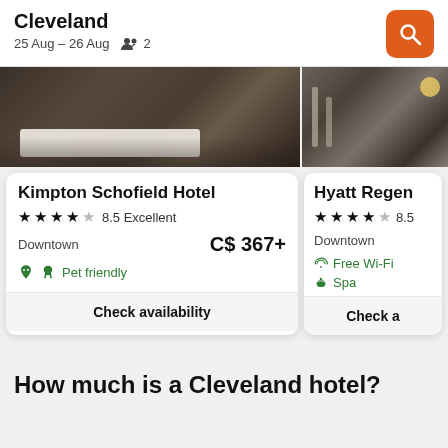Cleveland
25 Aug – 26 Aug   2
[Figure (photo): Hotel room and lobby interior photos shown as image strip at top of cards]
Kimpton Schofield Hotel
★★★★☆ 8.5 Excellent
Downtown   C$ 367+
🐾 Pet friendly
Check availability
Hyatt Regen[cy]
★★★★☆ 8.5
Downtown
📶 Free Wi-Fi
💆 Spa
Check a[vailability]
How much is a Cleveland hotel?